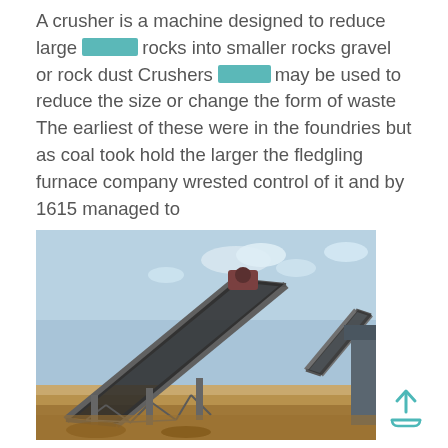A crusher is a machine designed to reduce large rocks into smaller rocks gravel or rock dust Crushers may be used to reduce the size or change the form of waste The earliest of these were in the foundries but as coal took hold the larger the fledgling furnace company wrested control of it and by 1615 managed to
[Figure (photo): Large industrial conveyor belt structure at a mining or quarry site, angled at steep incline with metal trusses, set against a hazy blue sky with dry ground below.]